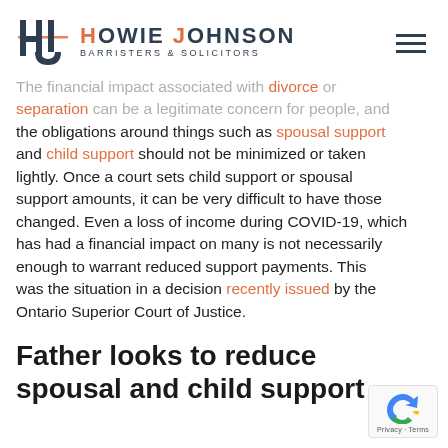HOWIE JOHNSON BARRISTERS & SOLICITORS
The financial impact associated with divorce or separation can be a legitimate concern for people, and the obligations around things such as spousal support and child support should not be minimized or taken lightly. Once a court sets child support or spousal support amounts, it can be very difficult to have those changed. Even a loss of income during COVID-19, which has had a financial impact on many is not necessarily enough to warrant reduced support payments. This was the situation in a decision recently issued by the Ontario Superior Court of Justice.
Father looks to reduce spousal and child support